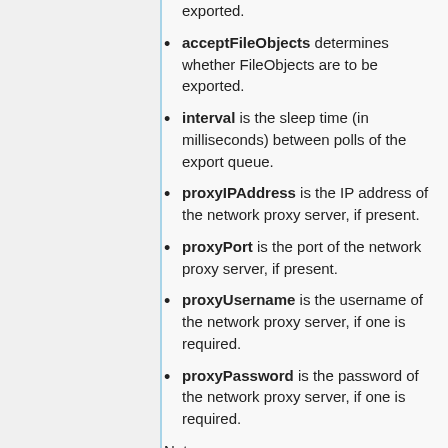exported.
acceptFileObjects determines whether FileObjects are to be exported.
interval is the sleep time (in milliseconds) between polls of the export queue.
proxyIPAddress is the IP address of the network proxy server, if present.
proxyPort is the port of the network proxy server, if present.
proxyUsername is the username of the network proxy server, if one is required.
proxyPassword is the password of the network proxy server, if one is required.
Notes:
The default interval is 10 seconds.
The minimum allowed value is...